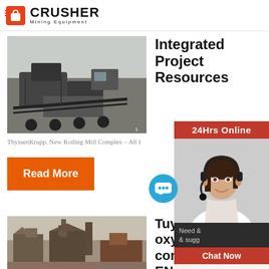CRUSHER Mining Equipment
[Figure (photo): Mining equipment / crusher machinery at a mining site]
Integrated Project Resources
ThyssenKrupp. New Rolling Mill Complex – All I
Read More
[Figure (photo): Mining site with industrial buildings and equipment]
Tuyer oxygen conve ENCE GmbH
[Figure (infographic): 24Hrs Online customer service sidebar with lady wearing headset, Chat Now button, Enquiry section, and email limingjlmofen@sina.com]